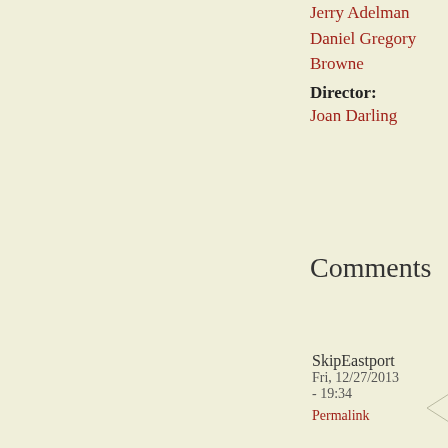Jerry Adelman
Daniel Gregory Browne
Director:
Joan Darling
Comments
SkipEastport
Fri, 12/27/2013
- 19:34
Permalink
Tug of W
" oftentimes humor and
Even as 10 of its detrac haters. The really true. traditional s a lot of neg think it kne in the early